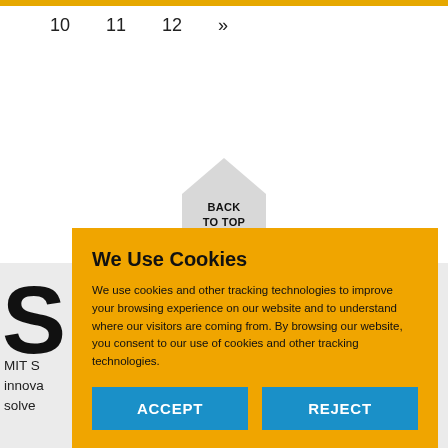10  11  12  »
BACK
TO TOP
S
MIT S
innova
solve
We Use Cookies

We use cookies and other tracking technologies to improve your browsing experience on our website and to understand where our visitors are coming from. By browsing our website, you consent to our use of cookies and other tracking technologies.
ACCEPT
REJECT